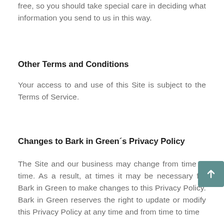free, so you should take special care in deciding what information you send to us in this way.
Other Terms and Conditions
Your access to and use of this Site is subject to the Terms of Service.
Changes to Bark in Green´s Privacy Policy
The Site and our business may change from time to time. As a result, at times it may be necessary for Bark in Green to make changes to this Privacy Policy. Bark in Green reserves the right to update or modify this Privacy Policy at any time and from time to time